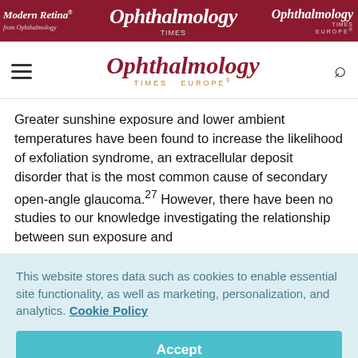[Figure (logo): Top navigation banner with Modern Retina, Ophthalmology Times, and Ophthalmology Times Europe logos on dark red background]
[Figure (logo): Ophthalmology Times Europe navigation bar with hamburger menu and search icon]
Greater sunshine exposure and lower ambient temperatures have been found to increase the likelihood of exfoliation syndrome, an extracellular deposit disorder that is the most common cause of secondary open-angle glaucoma.27 However, there have been no studies to our knowledge investigating the relationship between sun exposure and
This website stores data such as cookies to enable essential site functionality, as well as marketing, personalization, and analytics. Cookie Policy
Accept
Deny